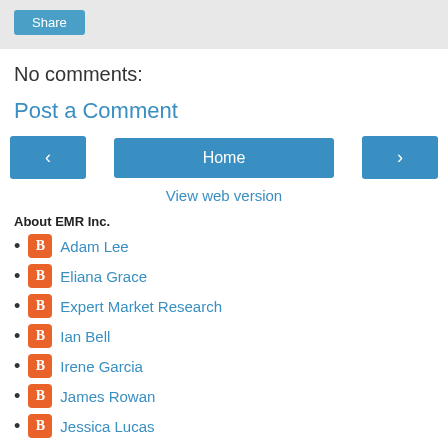Share
No comments:
Post a Comment
< Home >
View web version
About EMR Inc.
Adam Lee
Eliana Grace
Expert Market Research
Ian Bell
Irene Garcia
James Rowan
Jessica Lucas